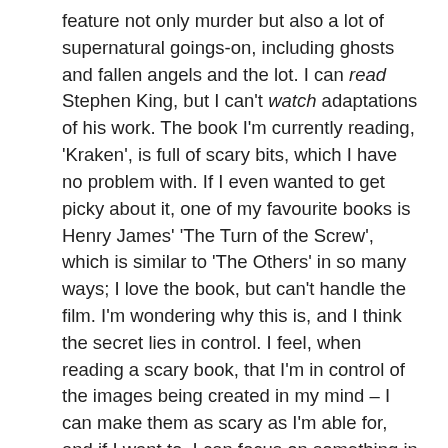feature not only murder but also a lot of supernatural goings-on, including ghosts and fallen angels and the lot. I can read Stephen King, but I can't watch adaptations of his work. The book I'm currently reading, 'Kraken', is full of scary bits, which I have no problem with. If I even wanted to get picky about it, one of my favourite books is Henry James' 'The Turn of the Screw', which is similar to 'The Others' in so many ways; I love the book, but can't handle the film. I'm wondering why this is, and I think the secret lies in control. I feel, when reading a scary book, that I'm in control of the images being created in my mind – I can make them as scary as I'm able for, and if I want to, I can focus on something in the background of the scene instead. I also know I can close the book and walk away at any stage. I'm not completely sure about this logic, though, because usually when a person reads, the mental images are more intense, because they're so extremely personal. Hmm.
It's a puzzle, and no mistake. Has anyone else experienced